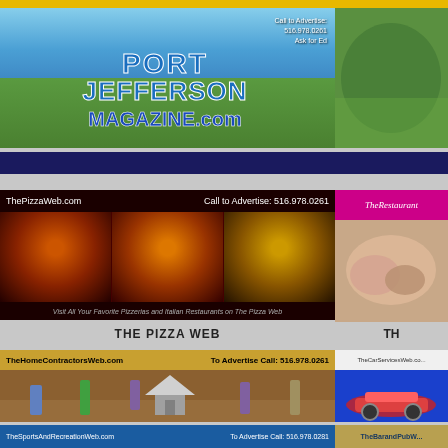[Figure (screenshot): Port Jefferson Magazine banner with waterfront photo and stylized text 'PORT JEFFERSON MAGAZINE.com'. Call to Advertise: 516.978.0261]
[Figure (screenshot): Partially visible right-side green banner]
[Figure (screenshot): ThePizzaWeb.com banner showing three pizza photos. Call to Advertise: 516.978.0261. Text: Visit All Your Favorite Pizzerias and Italian Restaurants on The Pizza Web]
THE PIZZA WEB
[Figure (screenshot): TheRestaurant (partially visible) banner with food photo on magenta background]
TH
[Figure (screenshot): TheHomeContractorsWeb.com banner. To Advertise Call: 516.978.0261. Shows 3D animated construction workers and tools.]
[Figure (screenshot): TheCarServicesWeb.com banner (partially visible) with blue background and car images]
[Figure (screenshot): TheSportsAndRecreationWeb.com banner. To Advertise Call: 516.978.0261]
[Figure (screenshot): TheBarandPubW banner (partially visible) on tan/gold background]